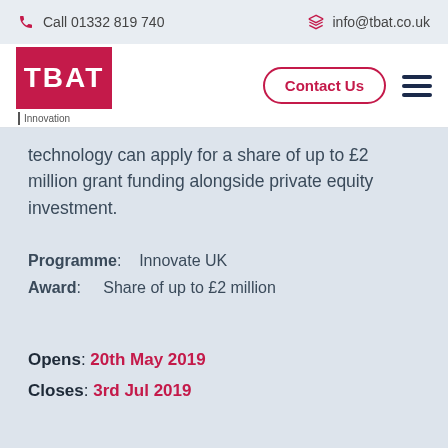Call 01332 819 740   info@tbat.co.uk
[Figure (logo): TBAT Innovation logo - red square with white TBAT text, Innovation text below with vertical bar]
technology can apply for a share of up to £2 million grant funding alongside private equity investment.
Programme: Innovate UK
Award: Share of up to £2 million
Opens: 20th May 2019
Closes: 3rd Jul 2019